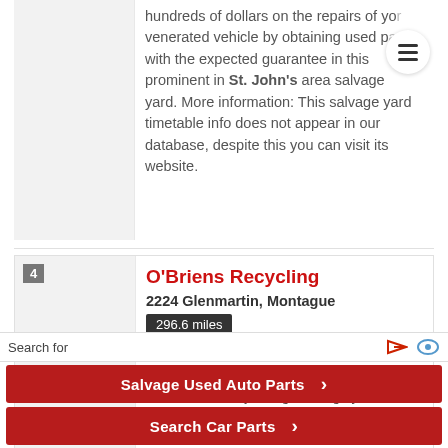hundreds of dollars on the repairs of your venerated vehicle by obtaining used parts with the expected guarantee in this prominent in St. John's area salvage yard. More information: This salvage yard timetable info does not appear in our database, despite this you can visit its website.
O'Briens Recycling
2224 Glenmartin, Montague
296.6 miles
This salvage yard placed in the municipality of Montague (Prince Edward Island), brings an highly
Search for
Salvage Used Auto Parts ›
Search Car Parts ›